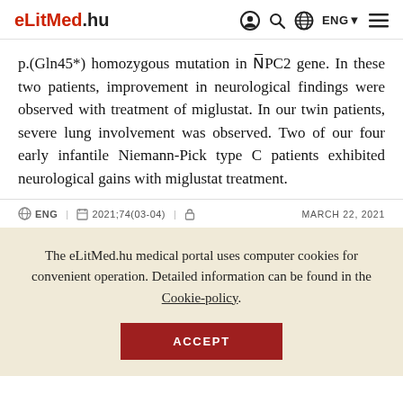eLitMed.hu | ENG | (icons: user, search, globe, menu)
p.(Gln45*) homozygous mutation in N̄PC2 gene. In these two patients, improvement in neurological findings were observed with treatment of miglustat. In our twin patients, severe lung involvement was observed. Two of our four early infantile Niemann-Pick type C patients exhibited neurological gains with miglustat treatment.
ENG | 2021;74(03-04) | [lock icon] | MARCH 22, 2021
The eLitMed.hu medical portal uses computer cookies for convenient operation. Detailed information can be found in the Cookie-policy.
ACCEPT